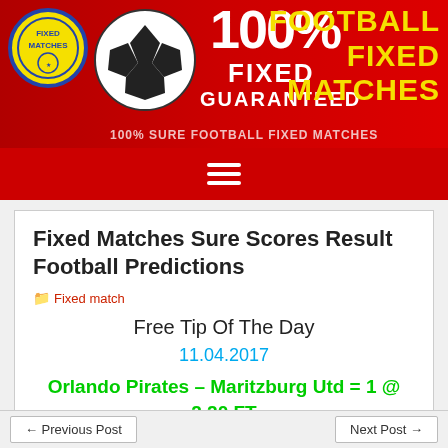[Figure (illustration): Red banner with football/soccer ball, 100% Fixed Guaranteed text in white, Football Fixed Matches in yellow on the right, and a circular logo on the left]
Fixed Matches Sure Scores Result Football Predictions
📁 Fixed match
Free Tip Of The Day
11.04.2017
Orlando Pirates – Maritzburg Utd = 1 @ 2.20 FT 2:0
Lincoln City – Chester = 1 @ 1.30 FT 1:0
← Previous Post    Next Post →